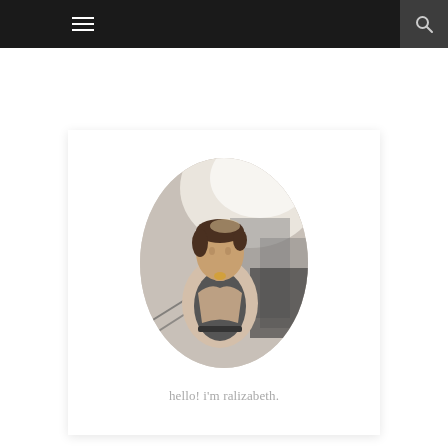Navigation bar with menu and search icons
[Figure (photo): Oval-cropped portrait photo of a young woman with short hair wearing a beige blazer and dark top, standing outdoors near a building. Soft bright lighting from behind.]
hello! i'm ralizabeth.